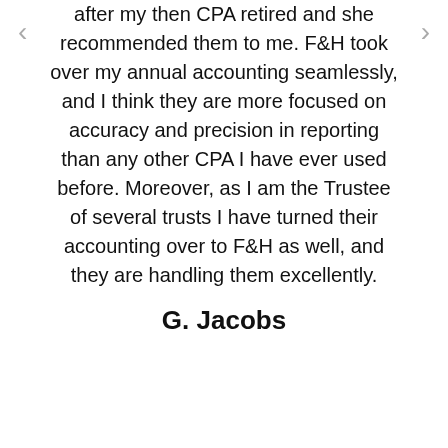after my then CPA retired and she recommended them to me. F&H took over my annual accounting seamlessly, and I think they are more focused on accuracy and precision in reporting than any other CPA I have ever used before. Moreover, as I am the Trustee of several trusts I have turned their accounting over to F&H as well, and they are handling them excellently.
G. Jacobs